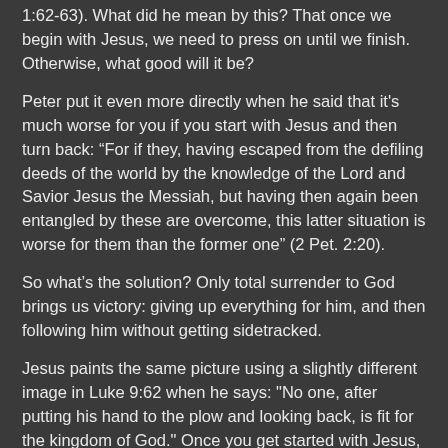1:62-63). What did he mean by this? That once we begin with Jesus, we need to press on until we finish. Otherwise, what good will it be?
Peter put it even more directly when he said that it's much worse for you if you start with Jesus and then turn back: “For if they, having escaped from the defiling deeds of the world by the knowledge of the Lord and Savior Jesus the Messiah, but having then again been entangled by these are overcome, this latter situation is worse for them than the former one” (2 Pet. 2:20).
So what’s the solution? Only total surrender to God brings us victory: giving up everything for him, and then following him without getting sidetracked.
Jesus paints the same picture using a slightly different image in Luke 9:62 when he says: "No one, after putting his hand to the plow and looking back, is fit for the kingdom of God." Once you get started with Jesus, don’t look back. Just keep going. We need to willingly give over our entire lives to him, total surrender—just as he totally surrendered his life as a sacrifice for us. What’s the Christian life about? Losing your